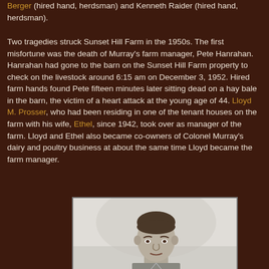Berger (hired hand, herdsman) and Kenneth Raider (hired hand, herdsman).
Two tragedies struck Sunset Hill Farm in the 1950s. The first misfortune was the death of Murray's farm manager, Pete Hanrahan. Hanrahan had gone to the barn on the Sunset Hill Farm property to check on the livestock around 6:15 am on December 3, 1952. Hired farm hands found Pete fifteen minutes later sitting dead on a hay bale in the barn, the victim of a heart attack at the young age of 44. Lloyd M. Prosser, who had been residing in one of the tenant houses on the farm with his wife, Ethel, since 1942, took over as manager of the farm. Lloyd and Ethel also became co-owners of Colonel Murray's dairy and poultry business at about the same time Lloyd became the farm manager.
[Figure (photo): Black and white portrait photograph of a young man, shown from approximately chest up, looking slightly to the side.]